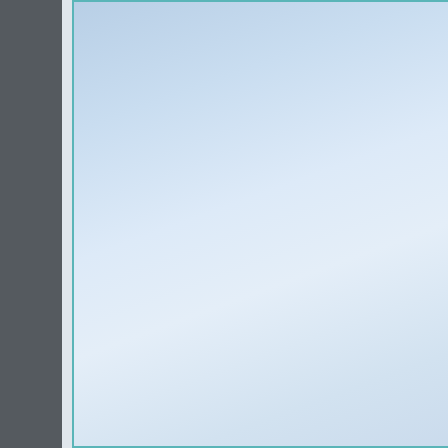[Figure (other): Light blue gradient decorative panel with teal border on left side of page]
Additional Services O
Detoxification
Specialty Progra
Adolescents
303 Eas